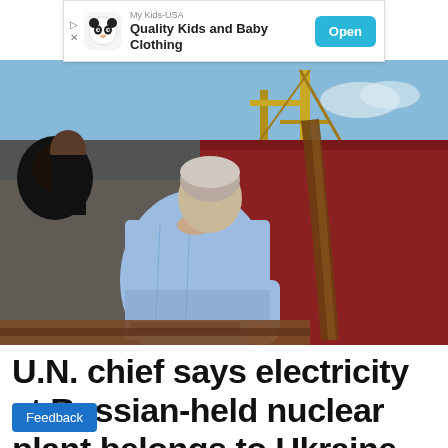[Figure (infographic): Ad banner: My Kids-USA — Quality Kids and Baby Clothing, with Open button]
[Figure (photo): A man in a light blue shirt leaning over near a large red-hulled ship, with a crane and industrial port equipment visible in the background. Another person in black is partially visible on the left.]
U.N. chief says electricity at Russian-held nuclear plant belongs to Ukraine